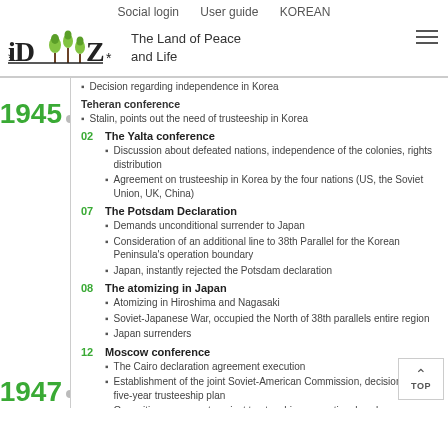Social login   User guide   KOREAN
[Figure (logo): iDMZ logo with tree illustrations and tagline 'The Land of Peace and Life']
Decision regarding independence in Korea
Teheran conference
Stalin, points out the need of trusteeship in Korea
02  The Yalta conference
Discussion about defeated nations, independence of the colonies, rights distribution
Agreement on trusteeship in Korea by the four nations (US, the Soviet Union, UK, China)
07  The Potsdam Declaration
Demands unconditional surrender to Japan
Consideration of an additional line to 38th Parallel for the Korean Peninsula's operation boundary
Japan, instantly rejected the Potsdam declaration
08  The atomizing in Japan
Atomizing in Hiroshima and Nagasaki
Soviet-Japanese War, occupied the North of 38th parallels entire region
Japan surrenders
12  Moscow conference
The Cairo declaration agreement execution
Establishment of the joint Soviet-American Commission, decision of the five-year trusteeship plan
Opposition movement against trusteeship on a national scale
09  Decision to form a government under the UN's management